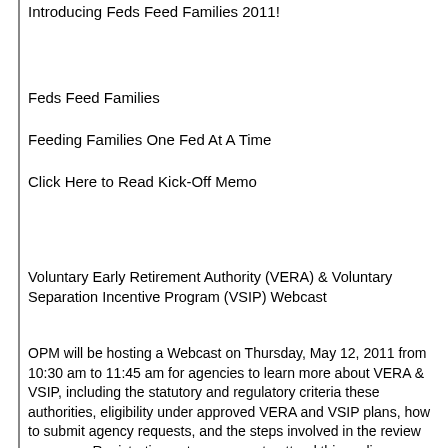Introducing Feds Feed Families 2011!
Feds Feed Families
Feeding Families One Fed At A Time
Click Here to Read Kick-Off Memo
Voluntary Early Retirement Authority (VERA) & Voluntary Separation Incentive Program (VSIP) Webcast
OPM will be hosting a Webcast on Thursday, May 12, 2011 from 10:30 am to 11:45 am for agencies to learn more about VERA & VSIP, including the statutory and regulatory criteria these authorities, eligibility under approved VERA and VSIP plans, how to submit agency requests, and the steps involved in the review process.   Registration not necessary to attend this on-line webcast. Questions may be e-mailed before and during the webcast to opmora. Training the OPM